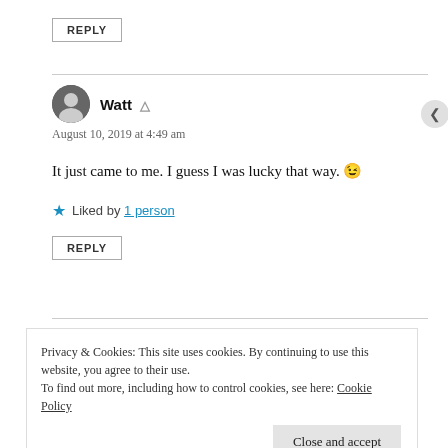REPLY
Watt
August 10, 2019 at 4:49 am
It just came to me. I guess I was lucky that way. 😉
★ Liked by 1 person
REPLY
Privacy & Cookies: This site uses cookies. By continuing to use this website, you agree to their use. To find out more, including how to control cookies, see here: Cookie Policy
Close and accept